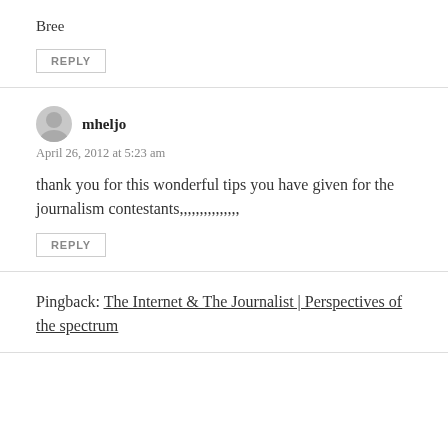Bree
REPLY
mheljo
April 26, 2012 at 5:23 am
thank you for this wonderful tips you have given for the journalism contestants,,,,,,,,,,,,,,,
REPLY
Pingback: The Internet & The Journalist | Perspectives of the spectrum